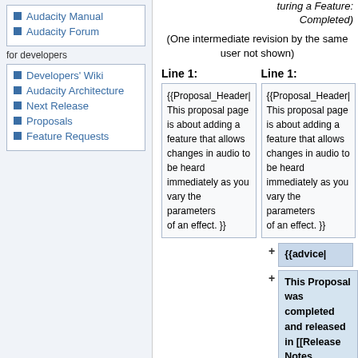Audacity Manual
Audacity Forum
for developers
Developers' Wiki
Audacity Architecture
Next Release
Proposals
Feature Requests
turing a Feature: Completed)
(One intermediate revision by the same user not shown)
Line 1:
Line 1:
{{Proposal_Header| This proposal page is about adding a feature that allows changes in audio to be heard immediately as you vary the parameters of an effect. }}
{{Proposal_Header| This proposal page is about adding a feature that allows changes in audio to be heard immediately as you vary the parameters of an effect. }}
+ {{advice|
+ This Proposal was completed and released in [[Release Notes 2.1.0|Audacity 2.1.0]].